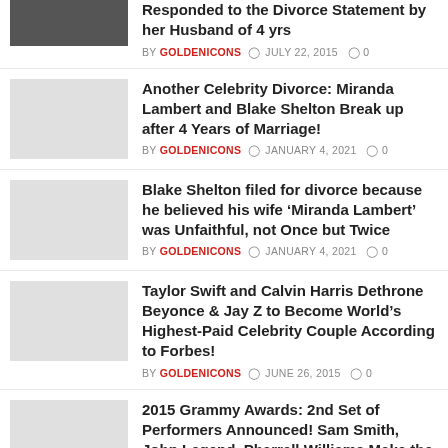Responded to the Divorce Statement by her Husband of 4 yrs — BY GOLDENICONS, JULY 22, 2015, 0 comments
Another Celebrity Divorce: Miranda Lambert and Blake Shelton Break up after 4 Years of Marriage! — BY GOLDENICONS, JANUARY 4, 2021, 0 comments
Blake Shelton filed for divorce because he believed his wife ‘Miranda Lambert’ was Unfaithful, not Once but Twice — BY GOLDENICONS, JANUARY 4, 2021, 0 comments
Taylor Swift and Calvin Harris Dethrone Beyonce & Jay Z to Become World’s Highest-Paid Celebrity Couple According to Forbes! — BY GOLDENICONS, JUNE 26, 2015, 0 comments
2015 Grammy Awards: 2nd Set of Performers Announced! Sam Smith, John Legend, Pharrell Williams Make the List!